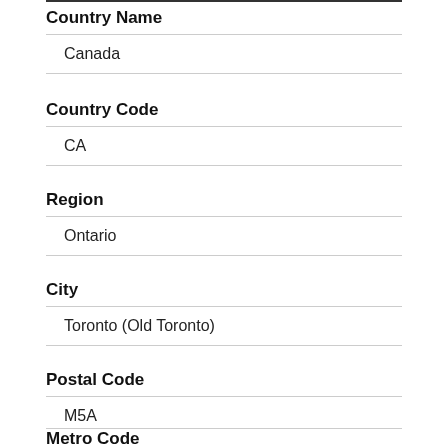Country Name
Canada
Country Code
CA
Region
Ontario
City
Toronto (Old Toronto)
Postal Code
M5A
Metro Code